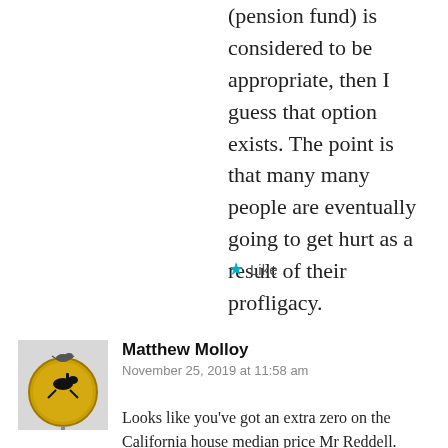(pension fund) is considered to be appropriate, then I guess that option exists. The point is that many many people are eventually going to get hurt as a result of their profligacy.
Like
Matthew Molloy
November 25, 2019 at 11:58 am
[Figure (photo): Avatar image of Matthew Molloy showing a bird on a circular sign]
Looks like you've got an extra zero on the California house median price Mr Reddell.